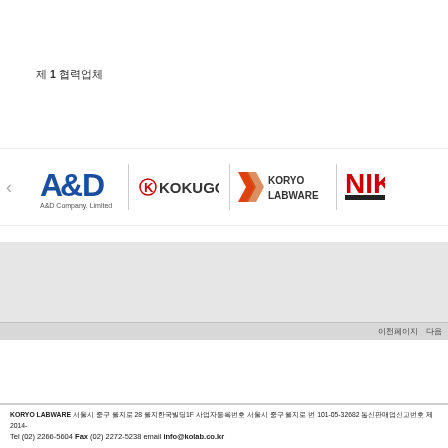제 1 협력업체
[Figure (logo): Brand logos carousel: A&D Company Limited, KOKUGO, KORYO LABWARE, NIK (partial)]
KORYO LABWARE 서울시 중구 을지로 28 을지한국빌딩1F 사업자등록번호 서울시 중구 을지로 번 101-05-32682 통신판매업신고번호 제2014-  Tel (02) 2266-5604 Fax (02) 2272-5238 email info@kolab.co.kr